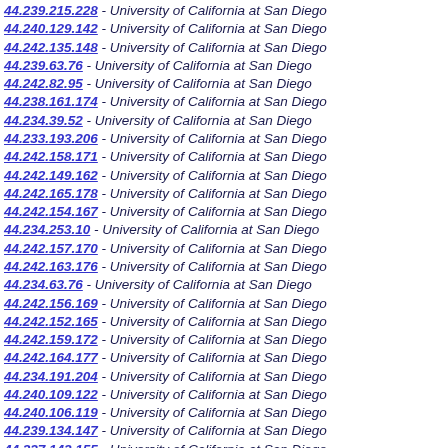44.239.215.228 - University of California at San Diego
44.240.129.142 - University of California at San Diego
44.242.135.148 - University of California at San Diego
44.239.63.76 - University of California at San Diego
44.242.82.95 - University of California at San Diego
44.238.161.174 - University of California at San Diego
44.234.39.52 - University of California at San Diego
44.233.193.206 - University of California at San Diego
44.242.158.171 - University of California at San Diego
44.242.149.162 - University of California at San Diego
44.242.165.178 - University of California at San Diego
44.242.154.167 - University of California at San Diego
44.234.253.10 - University of California at San Diego
44.242.157.170 - University of California at San Diego
44.242.163.176 - University of California at San Diego
44.234.63.76 - University of California at San Diego
44.242.156.169 - University of California at San Diego
44.242.152.165 - University of California at San Diego
44.242.159.172 - University of California at San Diego
44.242.164.177 - University of California at San Diego
44.234.191.204 - University of California at San Diego
44.240.109.122 - University of California at San Diego
44.240.106.119 - University of California at San Diego
44.239.134.147 - University of California at San Diego
44.237.142.155 - University of California at San Diego
44.235.202.215 - University of California at San Diego
44.239.7.20 - University of California at San Diego
44.27.225.238 - University of California at San Diego
44.237.137.150 - University of California at San Diego
44.236.133.146 - University of California at San Diego
44.242.1.46 - University of California at San Diego